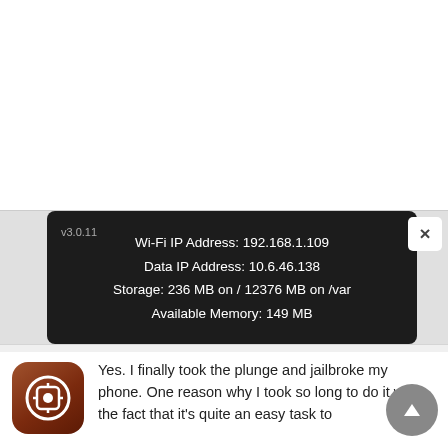[Figure (screenshot): Dark-themed mobile app info screen showing: v3.0.11, Wi-Fi IP Address: 192.168.1.109, Data IP Address: 10.6.46.138, Storage: 236 MB on / 12376 MB on /var, Available Memory: 149 MB. A close (X) button is in the top-right corner.]
Toggle your hearts out
Share this:
[Figure (logo): Cydia app icon — brown rounded square with white circular gear/box logo]
Yes. I finally took the plunge and jailbroke my phone. One reason why I took so long to do it was the fact that it's quite an easy task to